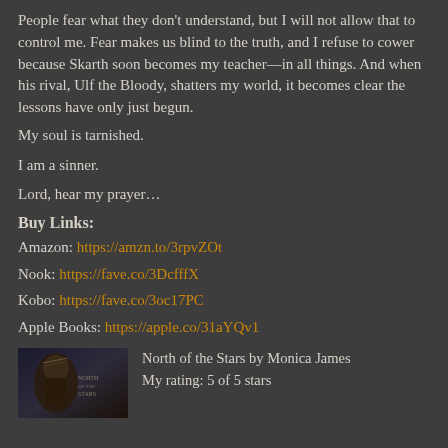People fear what they don't understand, but I will not allow that to control me. Fear makes us blind to the truth, and I refuse to cower because Skarth soon becomes my teacher—in all things. And when his rival, Ulf the Bloody, shatters my world, it becomes clear the lessons have only just begun.
My soul is tarnished.
I am a sinner.
Lord, hear my prayer…
Buy Links:
Amazon: https://amzn.to/3rpvZOt
Nook: https://fave.co/3DcfffX
Kobo: https://fave.co/3oc17PC
Apple Books: https://apple.co/31aYQv1
[Figure (photo): Book cover image for 'North of the Stars' by Monica James showing a fantasy/romance figure]
North of the Stars by Monica James
My rating: 5 of 5 stars